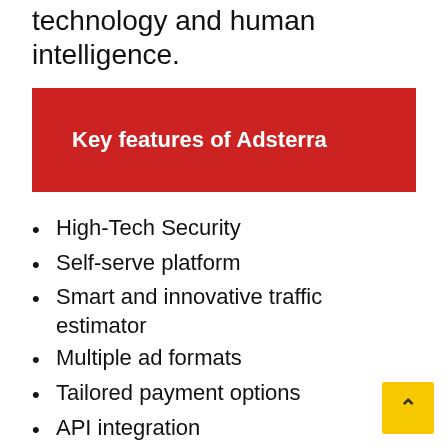technology and human intelligence.
Key features of Adsterra
High-Tech Security
Self-serve platform
Smart and innovative traffic estimator
Multiple ad formats
Tailored payment options
API integration